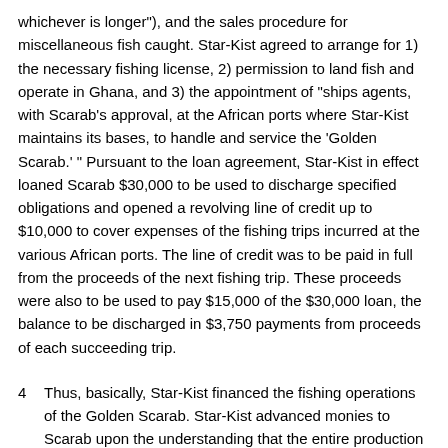whichever is longer"), and the sales procedure for miscellaneous fish caught. Star-Kist agreed to arrange for 1) the necessary fishing license, 2) permission to land fish and operate in Ghana, and 3) the appointment of "ships agents, with Scarab's approval, at the African ports where Star-Kist maintains its bases, to handle and service the 'Golden Scarab.' " Pursuant to the loan agreement, Star-Kist in effect loaned Scarab $30,000 to be used to discharge specified obligations and opened a revolving line of credit up to $10,000 to cover expenses of the fishing trips incurred at the various African ports. The line of credit was to be paid in full from the proceeds of the next fishing trip. These proceeds were also to be used to pay $15,000 of the $30,000 loan, the balance to be discharged in $3,750 payments from proceeds of each succeeding trip.
4  Thus, basically, Star-Kist financed the fishing operations of the Golden Scarab. Star-Kist advanced monies to Scarab upon the understanding that the entire production of the ship would be turned over to Star-Kist. But, as the district court noted, Star-Kist's role went beyond that of a mere lender. Star-Kist, keeping a close rein on the funds, also entered into the administration of the expeditions. It made the arrangements for dry-docking, overhauls, provisions of